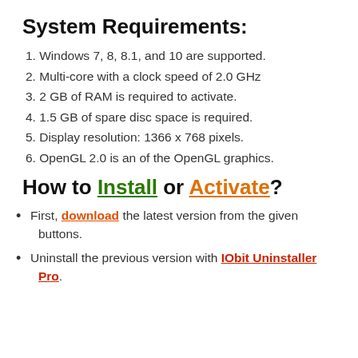System Requirements:
1. Windows 7, 8, 8.1, and 10 are supported.
2. Multi-core with a clock speed of 2.0 GHz
3. 2 GB of RAM is required to activate.
4. 1.5 GB of spare disc space is required.
5. Display resolution: 1366 x 768 pixels.
6. OpenGL 2.0 is an of the OpenGL graphics.
How to Install or Activate?
First, download the latest version from the given buttons.
Uninstall the previous version with IObit Uninstaller Pro.